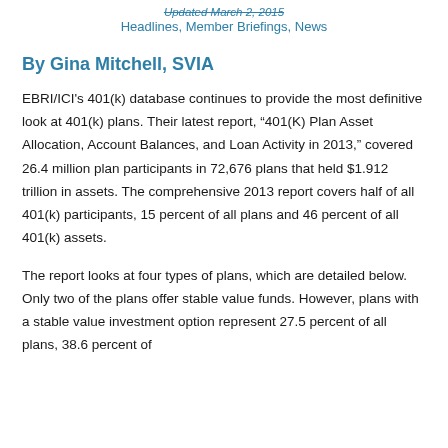Updated March 2, 2015 | Headlines, Member Briefings, News
By Gina Mitchell, SVIA
EBRI/ICI's 401(k) database continues to provide the most definitive look at 401(k) plans. Their latest report, "401(K) Plan Asset Allocation, Account Balances, and Loan Activity in 2013," covered 26.4 million plan participants in 72,676 plans that held $1.912 trillion in assets. The comprehensive 2013 report covers half of all 401(k) participants, 15 percent of all plans and 46 percent of all 401(k) assets.
The report looks at four types of plans, which are detailed below. Only two of the plans offer stable value funds. However, plans with a stable value investment option represent 27.5 percent of all plans, 38.6 percent of